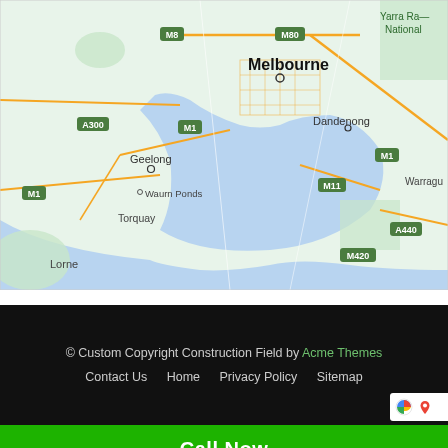[Figure (map): Google Maps view of Melbourne, Victoria, Australia region showing surrounding areas including Dandenong, Geelong, Waurn Ponds, Torquay, Lorne, and Yarra Ranges National Park. Highway labels visible: M8, M80, M1, A300, M11, A440, M420.]
© Custom Copyright Construction Field by Acme Themes
Contact Us    Home    Privacy Policy    Sitemap
Call Now